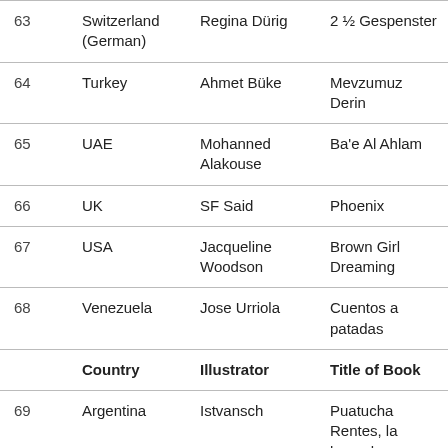|  | Country | Illustrator | Title of Book |
| --- | --- | --- | --- |
| 63 | Switzerland (German) | Regina Dürig | 2 ½ Gespenster |
| 64 | Turkey | Ahmet Büke | Mevzumuz Derin |
| 65 | UAE | Mohanned Alakouse | Ba'e Al Ahlam |
| 66 | UK | SF Said | Phoenix |
| 67 | USA | Jacqueline Woodson | Brown Girl Dreaming |
| 68 | Venezuela | Jose Urriola | Cuentos a patadas |
|  | Country | Illustrator | Title of Book |
| 69 | Argentina | Istvansch | Puatucha Rentes, la leyenda olvidada |
| 70 | Armenia | Maran | Oez hamar |